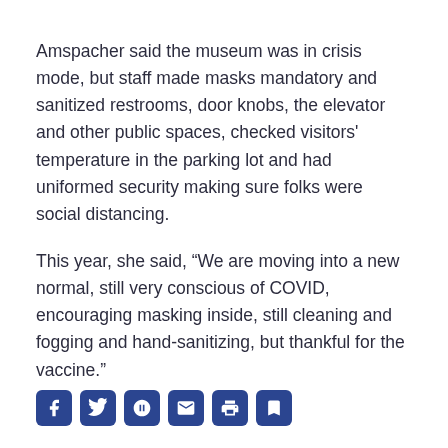Amspacher said the museum was in crisis mode, but staff made masks mandatory and sanitized restrooms, door knobs, the elevator and other public spaces, checked visitors' temperature in the parking lot and had uniformed security making sure folks were social distancing.
This year, she said, “We are moving into a new normal, still very conscious of COVID, encouraging masking inside, still cleaning and fogging and hand-sanitizing, but thankful for the vaccine.”
[Figure (other): Row of five social media sharing icons (Facebook, Twitter, Google+, Email, Print, Bookmark) in dark blue rounded squares]